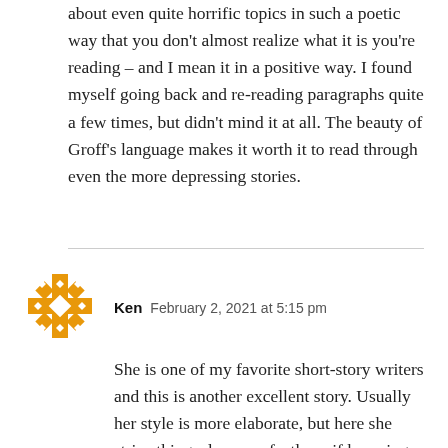about even quite horrific topics in such a poetic way that you don't almost realize what it is you're reading – and I mean it in a positive way. I found myself going back and re-reading paragraphs quite a few times, but didn't mind it at all. The beauty of Groff's language makes it worth it to read through even the more depressing stories.
[Figure (illustration): Orange decorative geometric/snowflake pattern avatar icon for user Ken]
Ken  February 2, 2021 at 5:15 pm
She is one of my favorite short-story writers and this is another excellent story. Usually her style is more elaborate, but here she strips things down perfectly as if knowing that this more serious tale doesn't need ornamentation. It was a riveting, powerful experience and the sort of story that sadly